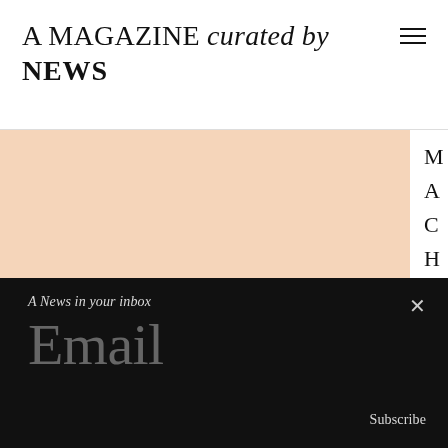A MAGAZINE curated by NEWS
[Figure (photo): Large peach/salmon colored rectangular area serving as main content image placeholder, with a dark photo visible in the bottom right corner]
A News in your inbox
Email
Subscribe